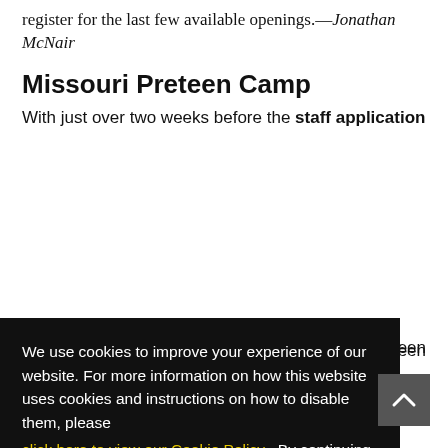register for the last few available openings.— Jonathan McNair
Missouri Preteen Camp
With just over two weeks before the staff application
teen
of the
on. We
and
ecially
tunity
[Figure (screenshot): Cookie consent overlay on dark background with text: 'We use cookies to improve your experience of our website. For more information on how this website uses cookies and instructions on how to disable them, please click here to view our Cookie Policy. By continuing to use this website, you are consenting to the website's use of cookies.' with a yellow 'Got It!' button.]
e...